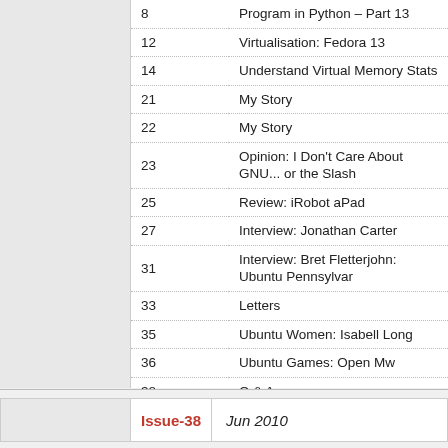| Page | Title |
| --- | --- |
| 8 | Program in Python – Part 13 |
| 12 | Virtualisation: Fedora 13 |
| 14 | Understand Virtual Memory Stats |
| 21 | My Story |
| 22 | My Story |
| 23 | Opinion: I Don't Care About GNU... or the Slash |
| 25 | Review: iRobot aPad |
| 27 | Interview: Jonathan Carter |
| 31 | Interview: Bret Fletterjohn: Ubuntu Pennsylvar |
| 33 | Letters |
| 35 | Ubuntu Women: Isabell Long |
| 36 | Ubuntu Games: Open Mw |
| 38 | Q & A |
| 40 | My Desktop |
| 42 | Top 5 – Ubuntu Documentation Sites |
| 45 | How to Contribute |
Issue-38   Jun 2010